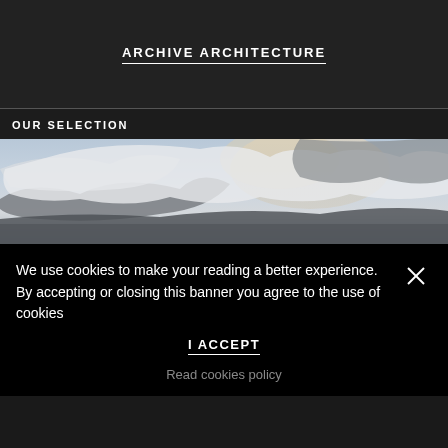ARCHIVE ARCHITECTURE
OUR SELECTION
[Figure (photo): Wide-angle photograph of a dramatic cloudy sky with light breaking through grey clouds]
We use cookies to make your reading a better experience. By accepting or closing this banner you agree to the use of cookies
I ACCEPT
Read cookies policy